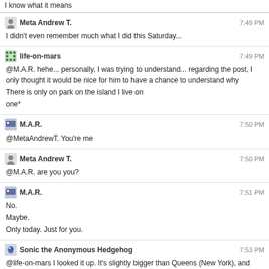I know what it means
Meta Andrew T. 7:49 PM
I didn't even remember much what I did this Saturday...
life-on-mars 7:49 PM
@M.A.R. hehe... personally, I was trying to understand... regarding the post, I only thought it would be nice for him to have a chance to understand why
There is only on park on the island I live on
one*
M.A.R. 7:50 PM
@MetaAndrewT. You're me
Meta Andrew T. 7:50 PM
@M.A.R. are you you?
M.A.R. 7:51 PM
No.
Maybe.
Only today. Just for you.
Sonic the Anonymous Hedgehog 7:53 PM
@life-on-mars I looked it up. It's slightly bigger than Queens (New York), and about the same size as Rotterdam (Netherlands)
life-on-mars 7:53 PM